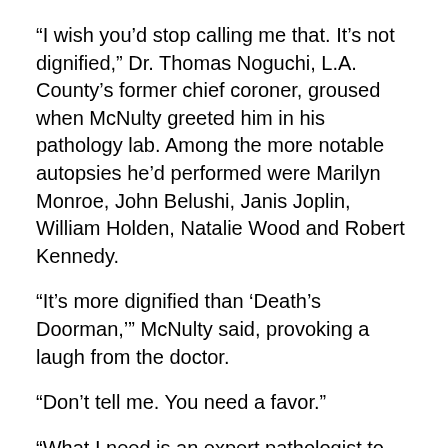“I wish you’d stop calling me that. It’s not dignified,” Dr. Thomas Noguchi, L.A. County’s former chief coroner, groused when McNulty greeted him in his pathology lab. Among the more notable autopsies he’d performed were Marilyn Monroe, John Belushi, Janis Joplin, William Holden, Natalie Wood and Robert Kennedy.
“It’s more dignified than ‘Death’s Doorman,’” McNulty said, provoking a laugh from the doctor.
“Don’t tell me. You need a favor.”
“What I need is an expert pathologist to give this a second look,” McNulty said. “Wouldn’t happen to know one, would you?”
“Who is it?” Noguchi said, tapping the coroner’s